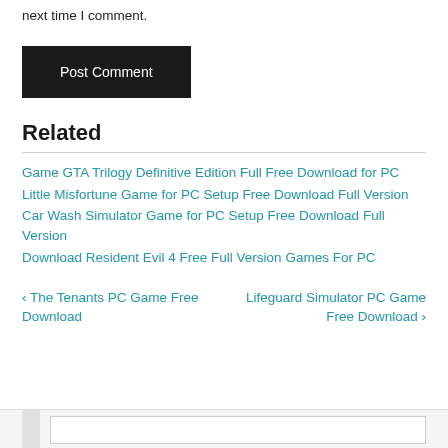next time I comment.
Post Comment
Related
Game GTA Trilogy Definitive Edition Full Free Download for PC
Little Misfortune Game for PC Setup Free Download Full Version
Car Wash Simulator Game for PC Setup Free Download Full Version
Download Resident Evil 4 Free Full Version Games For PC
< The Tenants PC Game Free Download   Lifeguard Simulator PC Game Free Download >